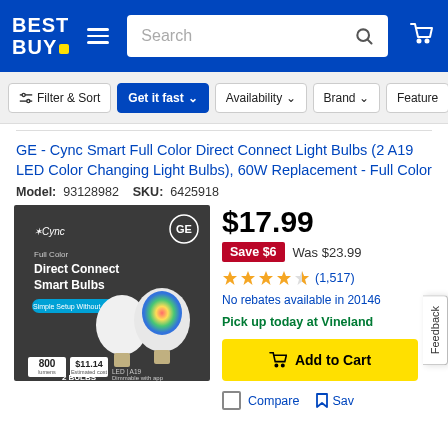[Figure (screenshot): Best Buy website header with logo, hamburger menu, search bar, and cart icon on blue background]
[Figure (screenshot): Filter bar with Filter & Sort, Get it fast (active), Availability, Brand, and Feature buttons]
GE - Cync Smart Full Color Direct Connect Light Bulbs (2 A19 LED Color Changing Light Bulbs), 60W Replacement - Full Color
Model: 93128982  SKU: 6425918
[Figure (photo): Product photo of GE Cync Full Color Direct Connect Smart Bulbs box showing 2 colorful A19 LED light bulbs on dark background]
$17.99
Save $6  Was $23.99
(1,517)  4.5 star rating
No rebates available in 20146
Pick up today at Vineland
Add to Cart
Compare  Save